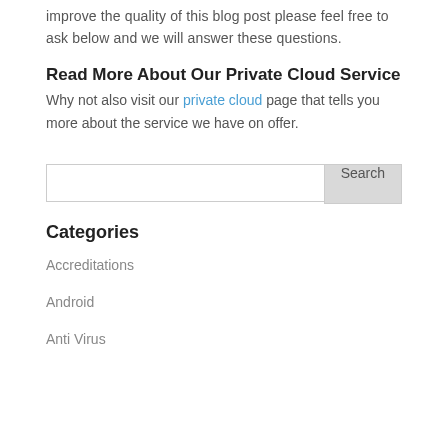improve the quality of this blog post please feel free to ask below and we will answer these questions.
Read More About Our Private Cloud Service
Why not also visit our private cloud page that tells you more about the service we have on offer.
[Figure (screenshot): Search input box with Search button]
Categories
Accreditations
Android
Anti Virus